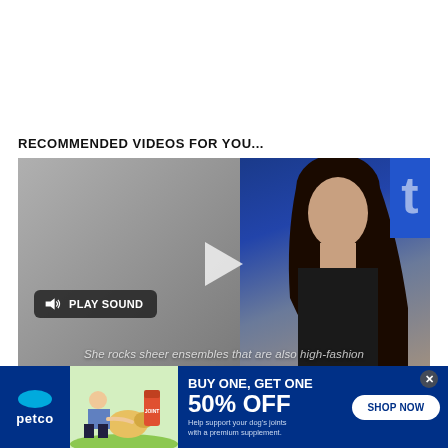RECOMMENDED VIDEOS FOR YOU...
[Figure (screenshot): Video player showing a woman with dark hair in front of a blue background. Left half is gray/neutral. A play button is centered. A 'PLAY SOUND' button with speaker icon appears at bottom left. Subtitle text reads: She rocks sheer ensembles that are also high-fashion]
[Figure (other): Petco advertisement banner: BUY ONE, GET ONE 50% OFF - Help support your dog's joints with a premium supplement. SHOP NOW button. Image of woman with golden retriever and supplement bottle.]